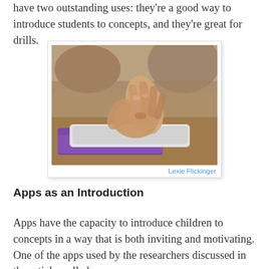have two outstanding uses: they're a good way to introduce students to concepts, and they're great for drills.
[Figure (photo): A child's hand touching a tablet device (iPad) with a purple cover, shown close-up on a desk in a classroom setting.]
Lexie Flickinger
Apps as an Introduction
Apps have the capacity to introduce children to concepts in a way that is both inviting and motivating. One of the apps used by the researchers discussed in the article, called